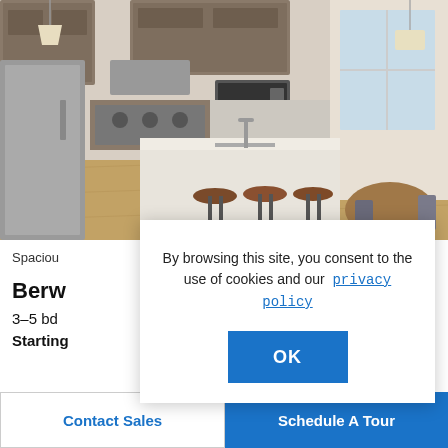[Figure (photo): Interior photo of a modern kitchen with a large white island, three dark metal bar stools with brown leather seats, stainless steel appliances, dark gray cabinetry, and a dining area with a round wood table and chairs visible in the background. Hardwood floors, pendant light fixtures.]
Spaciou
Berw
3–5 bd
Starting
By browsing this site, you consent to the use of cookies and our  privacy policy
OK
Contact Sales
Schedule A Tour